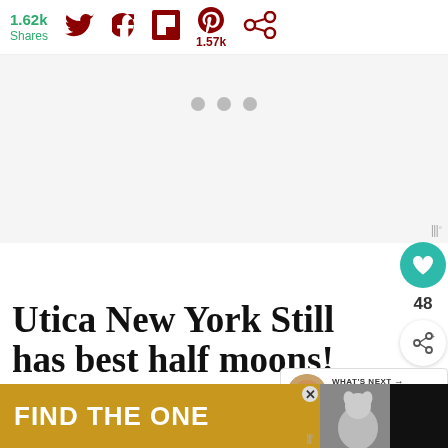1.62k Shares
[Figure (screenshot): Social sharing bar with Twitter, Facebook, Flipboard, Pinterest (1.57k), and other share icons on a white background]
[Figure (screenshot): Ad placeholder with three gray loading dots on light gray background]
[Figure (infographic): Right side panel with teal heart button, 48 like count, and share button]
[Figure (infographic): WHAT'S NEXT callout with pizza image thumbnail and text: Coconut Cream Pusti...]
Utica New York Still has best half moons!
[Figure (infographic): Yellow/gold advertisement banner reading FIND THE ONE with dog image and close button]